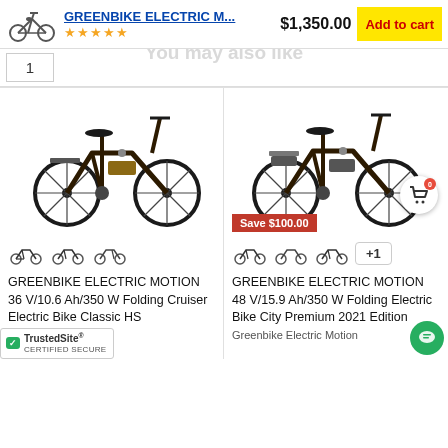GREENBIKE ELECTRIC M... $1,350.00 Add to cart
You may also like
1
[Figure (photo): Greenbike Electric Motion 36V folding cruiser electric bike, dark color, side view]
[Figure (photo): Greenbike Electric Motion 48V folding electric bike city premium, dark color, side view with Save $100.00 badge and cart icon overlay]
GREENBIKE ELECTRIC MOTION 36 V/10.6 Ah/350 W Folding Cruiser Electric Bike Classic HS
GREENBIKE ELECTRIC MOTION 48 V/15.9 Ah/350 W Folding Electric Bike City Premium 2021 Edition
Greenbike Electric Motion
[Figure (logo): TrustedSite Certified Secure badge]
[Figure (illustration): Green chat bubble icon bottom right]